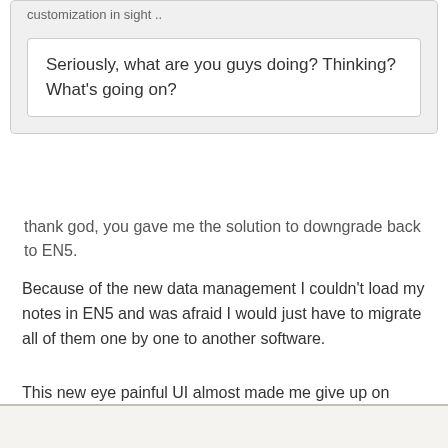customization in sight ..
Seriously, what are you guys doing? Thinking? What's going on?
thank god, you gave me the solution to downgrade back to EN5.
Because of the new data management I couldn't load my notes in EN5 and was afraid I would just have to migrate all of them one by one to another software.
This new eye painful UI almost made me give up on Evernote !
just lost 3 hours in the process, not really what is expected from a productivity application